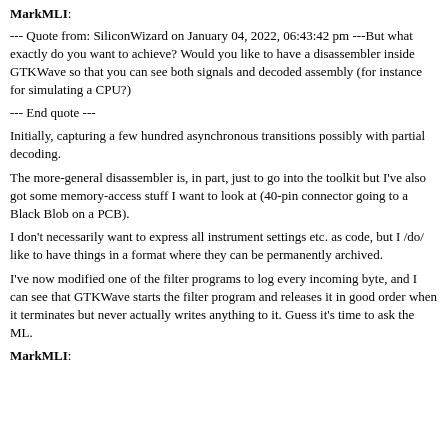MarkMLI:
--- Quote from: SiliconWizard on January 04, 2022, 06:43:42 pm ---But what exactly do you want to achieve? Would you like to have a disassembler inside GTKWave so that you can see both signals and decoded assembly (for instance for simulating a CPU?)
--- End quote ---
Initially, capturing a few hundred asynchronous transitions possibly with partial decoding.
The more-general disassembler is, in part, just to go into the toolkit but I've also got some memory-access stuff I want to look at (40-pin connector going to a Black Blob on a PCB).
I don't necessarily want to express all instrument settings etc. as code, but I /do/ like to have things in a format where they can be permanently archived.
I've now modified one of the filter programs to log every incoming byte, and I can see that GTKWave starts the filter program and releases it in good order when it terminates but never actually writes anything to it. Guess it's time to ask the ML.
MarkMLI: